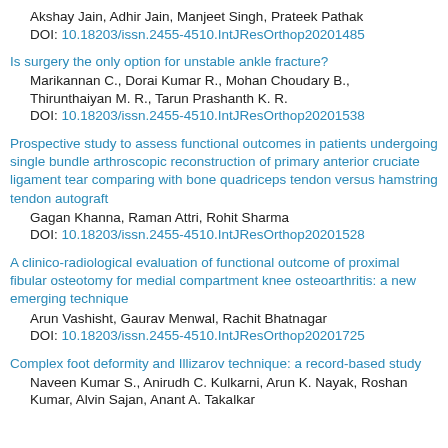Akshay Jain, Adhir Jain, Manjeet Singh, Prateek Pathak
DOI: 10.18203/issn.2455-4510.IntJResOrthop20201485
Is surgery the only option for unstable ankle fracture?
Marikannan C., Dorai Kumar R., Mohan Choudary B., Thirunthaiyan M. R., Tarun Prashanth K. R.
DOI: 10.18203/issn.2455-4510.IntJResOrthop20201538
Prospective study to assess functional outcomes in patients undergoing single bundle arthroscopic reconstruction of primary anterior cruciate ligament tear comparing with bone quadriceps tendon versus hamstring tendon autograft
Gagan Khanna, Raman Attri, Rohit Sharma
DOI: 10.18203/issn.2455-4510.IntJResOrthop20201528
A clinico-radiological evaluation of functional outcome of proximal fibular osteotomy for medial compartment knee osteoarthritis: a new emerging technique
Arun Vashisht, Gaurav Menwal, Rachit Bhatnagar
DOI: 10.18203/issn.2455-4510.IntJResOrthop20201725
Complex foot deformity and Illizarov technique: a record-based study
Naveen Kumar S., Anirudh C. Kulkarni, Arun K. Nayak, Roshan Kumar, Alvin Sajan, Anant A. Takalkar